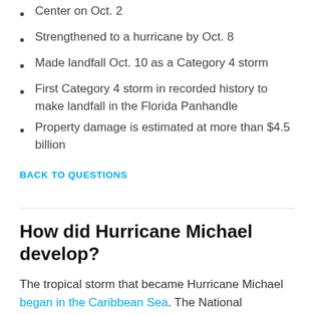Center on Oct. 2
Strengthened to a hurricane by Oct. 8
Made landfall Oct. 10 as a Category 4 storm
First Category 4 storm in recorded history to make landfall in the Florida Panhandle
Property damage is estimated at more than $4.5 billion
BACK TO QUESTIONS
How did Hurricane Michael develop?
The tropical storm that became Hurricane Michael began in the Caribbean Sea. The National Hurricane Center began tracking the storm Oct. 2, 2018. As it spun northeast past Honduras, southeastern Mexico, and western Cuba, the storm became stronger, causing 13 deaths in